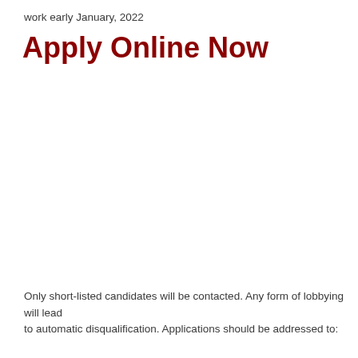work early January, 2022
Apply Online Now
Only short-listed candidates will be contacted. Any form of lobbying will lead
to automatic disqualification. Applications should be addressed to: